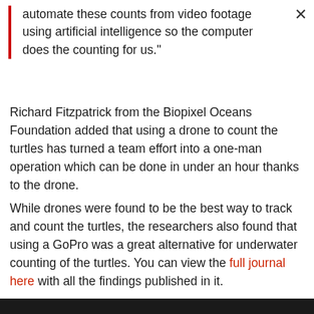automate these counts from video footage using artificial intelligence so the computer does the counting for us."
Richard Fitzpatrick from the Biopixel Oceans Foundation added that using a drone to count the turtles has turned a team effort into a one-man operation which can be done in under an hour thanks to the drone.
While drones were found to be the best way to track and count the turtles, the researchers also found that using a GoPro was a great alternative for underwater counting of the turtles. You can view the full journal here with all the findings published in it.